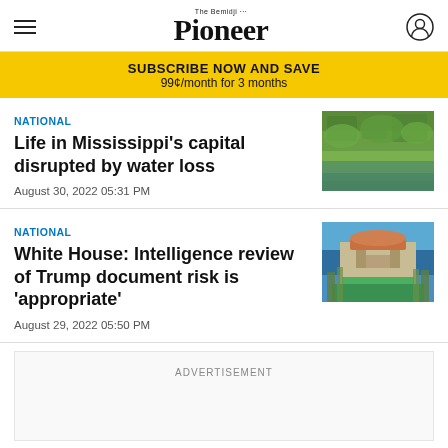The Bemidji Pioneer
SUBSCRIBE NOW AND SAVE
99¢/month for 3 months
NATIONAL
Life in Mississippi's capital disrupted by water loss
August 30, 2022 05:31 PM
[Figure (photo): Flooded area with green vegetation and water]
NATIONAL
White House: Intelligence review of Trump document risk is 'appropriate'
August 29, 2022 05:50 PM
[Figure (photo): Mar-a-Lago building with red roof and palm trees against blue sky]
ADVERTISEMENT